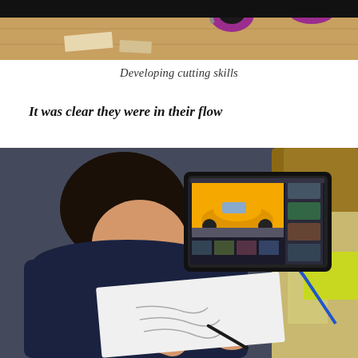[Figure (photo): Top portion of a photo showing purple/pink scissors and craft materials on a table surface, partially visible.]
Developing cutting skills
It was clear they were in their flow
[Figure (photo): A young boy in a dark navy blue shirt sitting on a grey carpet, drawing a car sketch on paper. He is looking at a tablet/laptop screen showing a yellow McLaren sports car image, using it as reference for his drawing.]